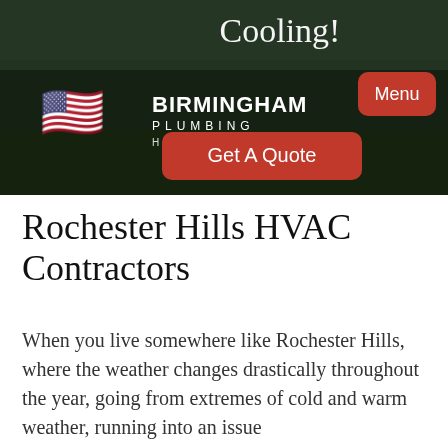[Figure (screenshot): Hero banner image showing darkened background with silhouettes of people in a group, overlaid with 'Cooling!' text at top, Birmingham Plumbing Heating & Cooling logo with US flag on left, a red 'Get A Quote' button in the center-bottom, and a red 'Menu' button on the right.]
Rochester Hills HVAC Contractors
When you live somewhere like Rochester Hills, where the weather changes drastically throughout the year, going from extremes of cold and warm weather, running into an issue